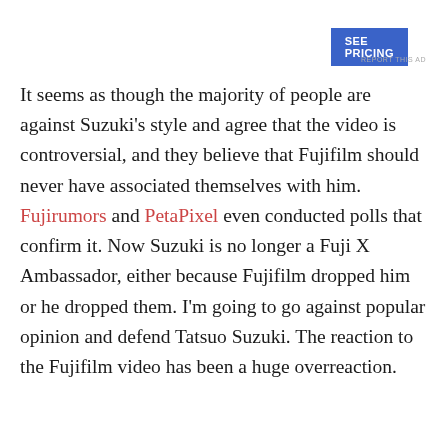[Figure (other): SEE PRICING advertisement button (blue background, white bold text)]
REPORT THIS AD
It seems as though the majority of people are against Suzuki's style and agree that the video is controversial, and they believe that Fujifilm should never have associated themselves with him. Fujirumors and PetaPixel even conducted polls that confirm it. Now Suzuki is no longer a Fuji X Ambassador, either because Fujifilm dropped him or he dropped them. I'm going to go against popular opinion and defend Tatsuo Suzuki. The reaction to the Fujifilm video has been a huge overreaction.